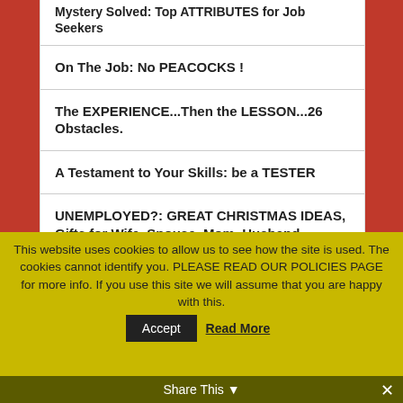Mystery Solved: Top ATTRIBUTES for Job Seekers
On The Job: No PEACOCKS !
The EXPERIENCE...Then the LESSON...26 Obstacles.
A Testament to Your Skills: be a TESTER
UNEMPLOYED?: GREAT CHRISTMAS IDEAS, Gifts for Wife, Spouse, Mom, Husband, Boyfriend, Partner...even TIPS to: make a JOB FOR YOURSELF !!
Banks to Depositors: YOU Pay Us To Hold YOUR Money
This website uses cookies to allow us to see how the site is used. The cookies cannot identify you. PLEASE READ OUR POLICIES PAGE for more info. If you use this site we will assume that you are happy with this.
Share This